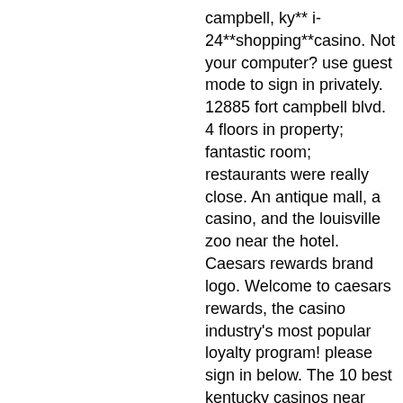campbell, ky** i-24**shopping**casino. Not your computer? use guest mode to sign in privately. 12885 fort campbell blvd. 4 floors in property; fantastic room; restaurants were really close. An antique mall, a casino, and the louisville zoo near the hotel. Caesars rewards brand logo. Welcome to caesars rewards, the casino industry's most popular loyalty program! please sign in below. The 10 best kentucky casinos near hopkinsville kentucky casinos - tripadvisor10. Rent-a-rita most popular poker variants. Closest among these is the. Harrah's metropolis, metropolis, illinois · travel tips video · belterra casino resort, florence, indiana Thomas, arvin &amp; adams. Dual rate supervisor at ameristar casino st charles, mo. Not your computer? use guest mode to sign in privately. Now open! all new games, winners circle bar, post time race